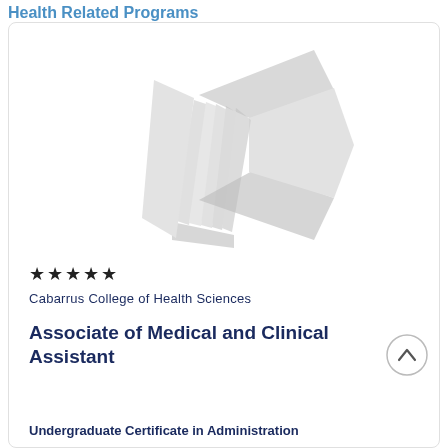Health Related Programs
[Figure (logo): Cabarrus College of Health Sciences logo — a stylized open book with pages fanning out, combined with a rightward-pointing arrow/chevron shape, rendered in light grey.]
★★★★★
Cabarrus College of Health Sciences
Associate of Medical and Clinical Assistant
Undergraduate Certificate in Administration